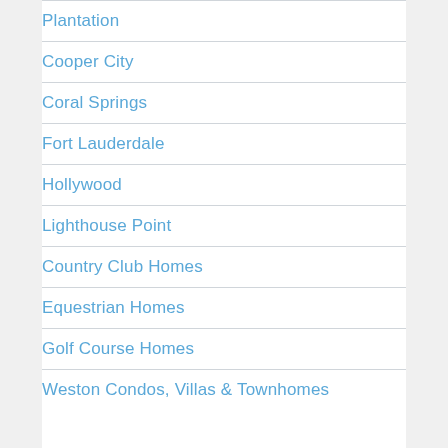Plantation
Cooper City
Coral Springs
Fort Lauderdale
Hollywood
Lighthouse Point
Country Club Homes
Equestrian Homes
Golf Course Homes
Weston Condos, Villas & Townhomes